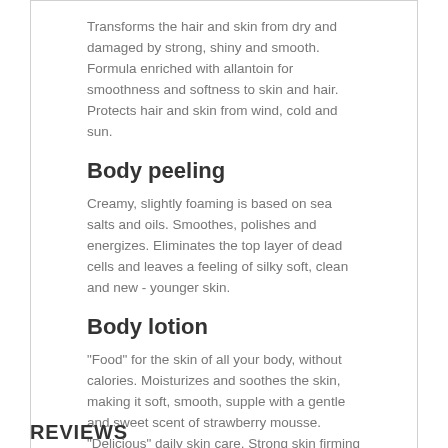Transforms the hair and skin from dry and damaged by strong, shiny and smooth. Formula enriched with allantoin for smoothness and softness to skin and hair. Protects hair and skin from wind, cold and sun.
Body peeling
Creamy, slightly foaming is based on sea salts and oils. Smoothes, polishes and energizes. Eliminates the top layer of dead cells and leaves a feeling of silky soft, clean and new - younger skin.
Body lotion
"Food" for the skin of all your body, without calories. Moisturizes and soothes the skin, making it soft, smooth, supple with a gentle and sweet scent of strawberry mousse. "Delicious" daily skin care. Strong skin firming effect, thanks of the essential oil of strawberry. Contains cocoa butter, which acts as a natural sunscreen.
REVIEWS